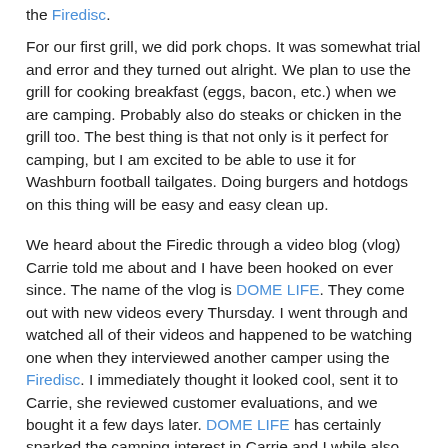the Firedisc.
For our first grill, we did pork chops. It was somewhat trial and error and they turned out alright. We plan to use the grill for cooking breakfast (eggs, bacon, etc.) when we are camping. Probably also do steaks or chicken in the grill too. The best thing is that not only is it perfect for camping, but I am excited to be able to use it for Washburn football tailgates. Doing burgers and hotdogs on this thing will be easy and easy clean up.
We heard about the Firedic through a video blog (vlog) Carrie told me about and I have been hooked on ever since. The name of the vlog is DOME LIFE. They come out with new videos every Thursday. I went through and watched all of their videos and happened to be watching one when they interviewed another camper using the Firedisc. I immediately thought it looked cool, sent it to Carrie, she reviewed customer evaluations, and we bought it a few days later. DOME LIFE has certainly sparked the camping interest in Carrie and I while also sharing tips and hints on camping. I think the Firedisc will be a great addition to our camping experience.